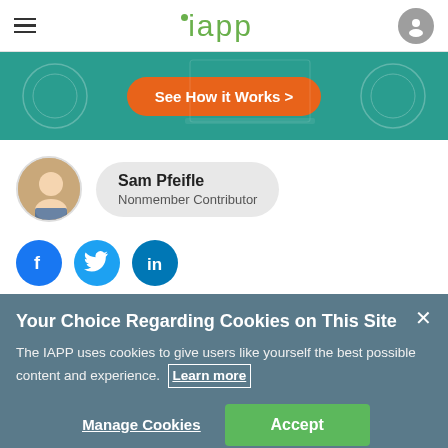iapp
[Figure (screenshot): Teal advertisement banner with an orange 'See How it Works >' button]
Sam Pfeifle
Nonmember Contributor
[Figure (illustration): Social media icons: Facebook, Twitter, LinkedIn]
Your Choice Regarding Cookies on This Site
The IAPP uses cookies to give users like yourself the best possible content and experience. Learn more
Manage Cookies   Accept